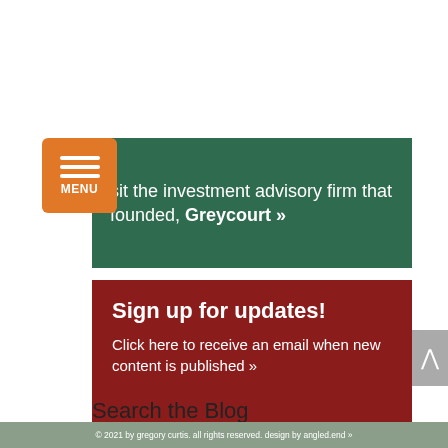[Figure (screenshot): Orange menu button with three horizontal white lines and 'MENU' text label below]
sit the investment advisory firm that founded, Greycourt »
Sign up for updates!
Click here to receive an email when new content is published »
Search the Blog
Search
© 2021 by gregory curtis. all rights reserved. design by angled.end »